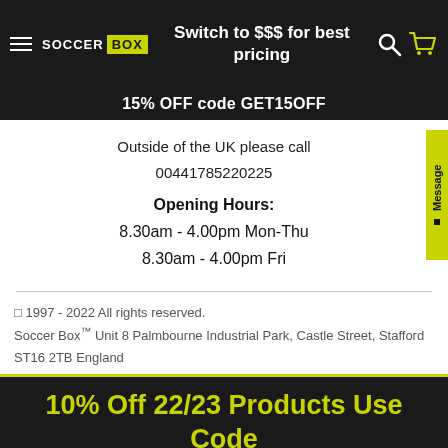Switch to $$$ for best pricing
15% OFF code GET15OFF
Outside of the UK please call
00441785220225
Opening Hours:
8.30am - 4.00pm Mon-Thu
8.30am - 4.00pm Fri
© 1997 - 2022 All rights reserved. Soccer Box™ Unit 8 Palmbourne Industrial Park, Castle Street, Stafford ST16 2TB England
10% Off 22/23 Products Use Code 2223FLASH - Royal Mail Delays